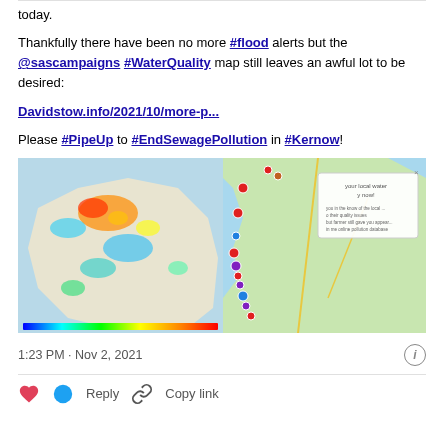today.
Thankfully there have been no more #flood alerts but the @sascampaigns #WaterQuality map still leaves an awful lot to be desired:
Davidstow.info/2021/10/more-p...
Please #PipeUp to #EndSewagePollution in #Kernow!
[Figure (map): Two maps side by side: left shows a heat map of water quality data over Cornwall UK, right shows a coastal map with coloured markers indicating water quality at various points along the north Cornwall coast.]
1:23 PM · Nov 2, 2021
Reply    Copy link